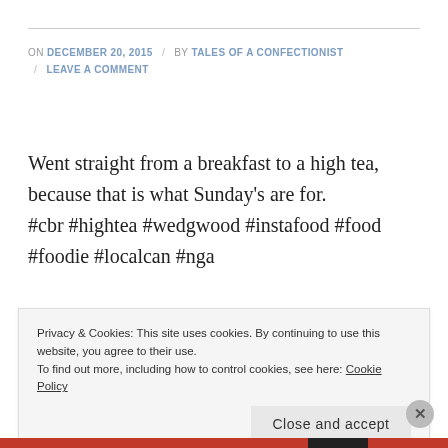ON DECEMBER 20, 2015 / BY TALES OF A CONFECTIONIST / LEAVE A COMMENT
Went straight from a breakfast to a high tea, because that is what Sunday's are for.
#cbr #hightea #wedgwood #instafood #food #foodie #localcan #nga
[Figure (photo): Partial view of a high tea table setting with blue/grey tones, dishes and teaware visible]
Privacy & Cookies: This site uses cookies. By continuing to use this website, you agree to their use.
To find out more, including how to control cookies, see here: Cookie Policy
Close and accept